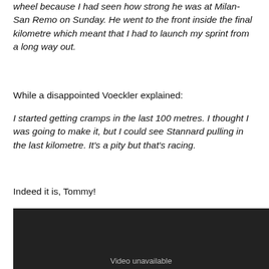wheel because I had seen how strong he was at Milan-San Remo on Sunday. He went to the front inside the final kilometre which meant that I had to launch my sprint from a long way out.
While a disappointed Voeckler explained:
I started getting cramps in the last 100 metres. I thought I was going to make it, but I could see Stannard pulling in the last kilometre. It's a pity but that's racing.
Indeed it is, Tommy!
[Figure (screenshot): Dark video player box showing 'Video unavailable' message]